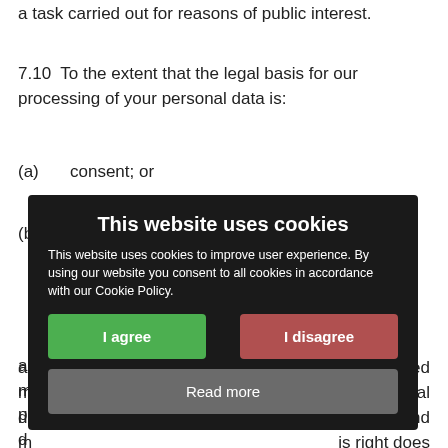a task carried out for reasons of public interest.
7.10  To the extent that the legal basis for our processing of your personal data is:
(a)    consent; or
(b)    that the processing is necessary for the performance of a contract to which you are party or in order to take steps at your request prior to entering into a contract;
you have the right to receive your personal data which you have provided to us in a structured, commonly used and machine-readable format. However, this right does not apply where it would adversely affect the rights and freedoms of others.
[Figure (screenshot): Cookie consent popup overlay with dark background. Title: 'This website uses cookies'. Body text: 'This website uses cookies to improve user experience. By using our website you consent to all cookies in accordance with our Cookie Policy.' Three buttons: 'I agree' (green), 'I disagree' (red/pink), 'Read more' (grey).]